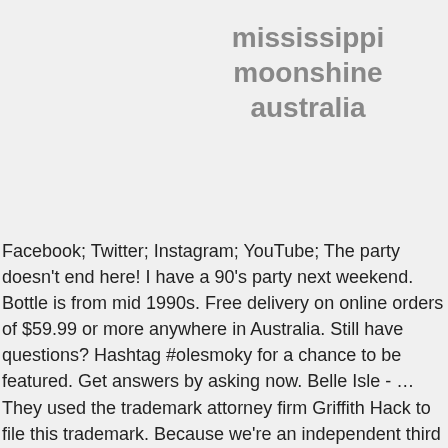mississippi moonshine australia
Facebook; Twitter; Instagram; YouTube; The party doesn't end here! I have a 90's party next weekend. Bottle is from mid 1990s. Free delivery on online orders of $59.99 or more anywhere in Australia. Still have questions? Hashtag #olesmoky for a chance to be featured. Get answers by asking now. Belle Isle - … They used the trademark attorney firm Griffith Hack to file this trademark. Because we're an independent third party we can give you unbiased insights and recommendations on the right partner to choose. The jug is an old take on a moonshine jug. His exhibit is on display at Cook Library on the Hattiesburg campus. The label has a vintage style look to it. Condition is "Used". Mississippi Moonshine Ornaments make for brilliantly simple gifts in the present, and promise to be meaningful keepsakes for memories in the years to come. It is a nod to the